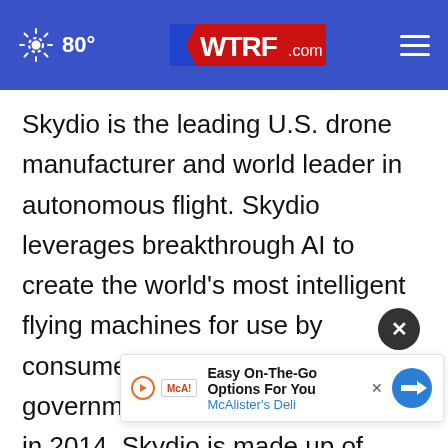80° WTRF.com
Skydio is the leading U.S. drone manufacturer and world leader in autonomous flight. Skydio leverages breakthrough AI to create the world's most intelligent flying machines for use by consumer, enterprise, and government customers. Founded in 2014, Skydio is made up of leading experts in AI, robotics, cameras, and electric vehicles from top companies, research labs, and universities from around the world. Skydio… products in the U.S. from its headquarters in
[Figure (other): Advertisement banner: Easy On-The-Go Options For You — McAlister's Deli, with play button, logo, and directional sign icon]